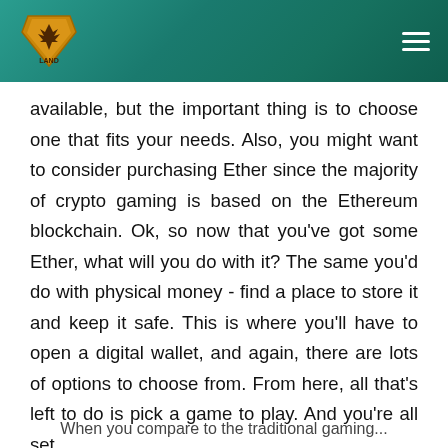Fara Land logo and navigation
available, but the important thing is to choose one that fits your needs. Also, you might want to consider purchasing Ether since the majority of crypto gaming is based on the Ethereum blockchain. Ok, so now that you've got some Ether, what will you do with it? The same you'd do with physical money - find a place to store it and keep it safe. This is where you'll have to open a digital wallet, and again, there are lots of options to choose from. From here, all that's left to do is pick a game to play. And you're all set.
Top Blockchain Games 2021
When you compare to the traditional gaming...